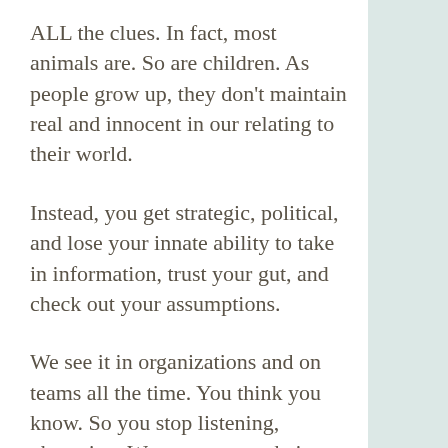ALL the clues. In fact, most animals are. So are children. As people grow up, they don't maintain real and innocent in our relating to their world.
Instead, you get strategic, political, and lose your innate ability to take in information, trust your gut, and check out your assumptions.
We see it in organizations and on teams all the time. You think you know. So you stop listening, observing. Worse, you stop being honest or sharing what is really going on inside of you and between you and others.